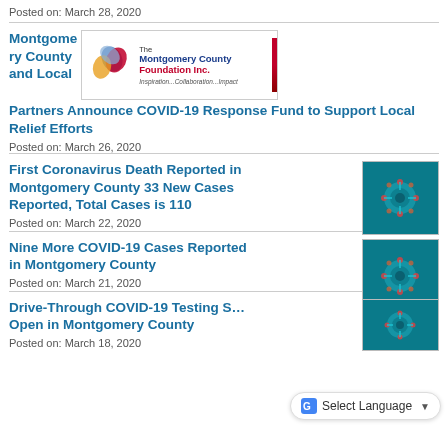Posted on: March 28, 2020
Montgomery County and Local Partners Announce COVID-19 Response Fund to Support Local Relief Efforts
[Figure (logo): The Montgomery County Foundation Inc. logo with tagline 'Inspiration...Collaboration...Impact']
Posted on: March 26, 2020
First Coronavirus Death Reported in Montgomery County 33 New Cases Reported, Total Cases is 110
[Figure (photo): Coronavirus cell microscope image on teal background]
Posted on: March 22, 2020
Nine More COVID-19 Cases Reported in Montgomery County
[Figure (photo): Coronavirus cell microscope image on teal background]
Posted on: March 21, 2020
Drive-Through COVID-19 Testing Site Open in Montgomery County
[Figure (photo): Coronavirus cell microscope image on teal background]
Posted on: March 18, 2020